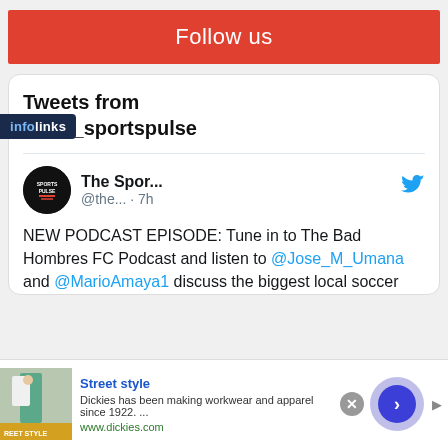Follow us
Tweets from @the_sportspulse
[Figure (screenshot): Tweet from @the_sportspulse account showing Sports Pulse logo avatar, account name 'The Spor...' handle '@the...' and time '7h', with Twitter bird icon. Tweet text: 'NEW PODCAST EPISODE: Tune in to The Bad Hombres FC Podcast and listen to @Jose_M_Umana and @MarioAmaya1 discuss the biggest local soccer']
infolinks
[Figure (screenshot): Advertisement banner: Street style - Dickies has been making workwear and apparel since 1922. ... www.dickies.com with image of person in street style outfit and a blue arrow button]